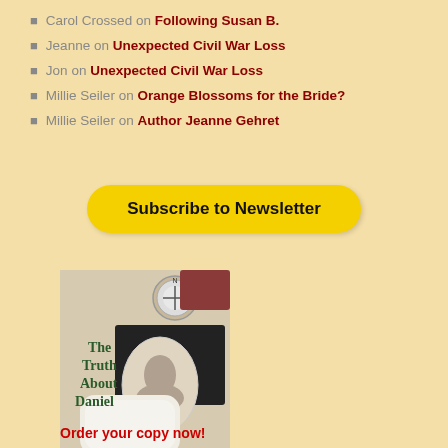Carol Crossed on Following Susan B.
Jeanne on Unexpected Civil War Loss
Jon on Unexpected Civil War Loss
Millie Seiler on Orange Blossoms for the Bride?
Millie Seiler on Author Jeanne Gehret
Subscribe to Newsletter
[Figure (photo): Book cover of 'The Truth About Daniel' showing white gloves, a compass, a dark book, and an oval portrait photo]
Order your copy now!